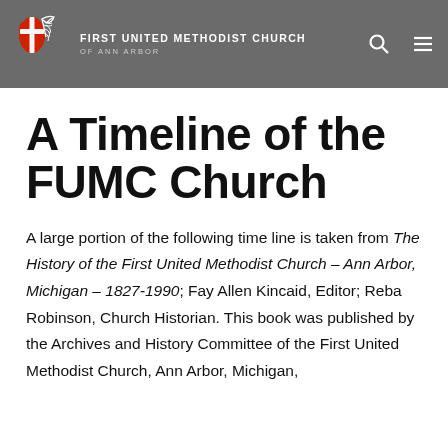FIRST UNITED METHODIST CHURCH OF ANN ARBOR
A Timeline of the FUMC Church
A large portion of the following time line is taken from The History of the First United Methodist Church – Ann Arbor, Michigan – 1827-1990; Fay Allen Kincaid, Editor; Reba Robinson, Church Historian. This book was published by the Archives and History Committee of the First United Methodist Church, Ann Arbor, Michigan,